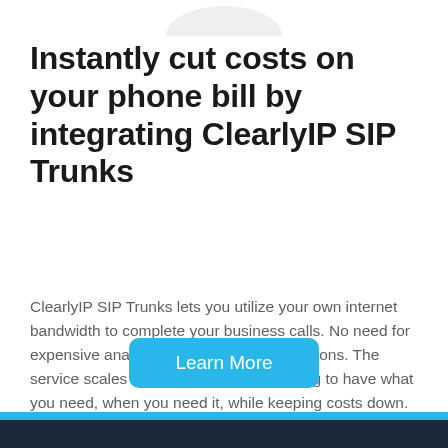[Figure (illustration): Partial image visible at top of page, likely a logo or decorative graphic]
Instantly cut costs on your phone bill by integrating ClearlyIP SIP Trunks
ClearlyIP SIP Trunks lets you utilize your own internet bandwidth to complete your business calls. No need for expensive analog lines or T1/PRI connections. The service scales with your company allowing to have what you need, when you need it, while keeping costs down.
[Figure (other): Learn More button — a rounded blue button with white text]